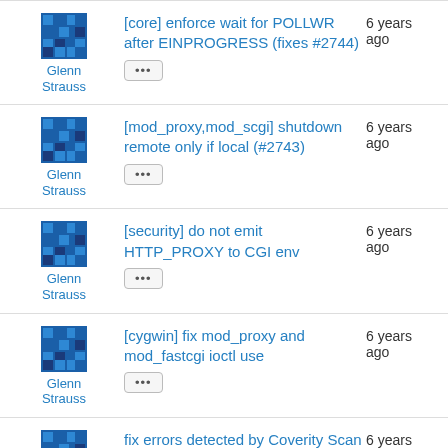Glenn Strauss | [core] enforce wait for POLLWR after EINPROGRESS (fixes #2744) | 6 years ago
Glenn Strauss | [mod_proxy,mod_scgi] shutdown remote only if local (#2743) | 6 years ago
Glenn Strauss | [security] do not emit HTTP_PROXY to CGI env | 6 years ago
Glenn Strauss | [cygwin] fix mod_proxy and mod_fastcgi ioctl use | 6 years ago
Glenn Strauss | fix errors detected by Coverity Scan | 6 years ago